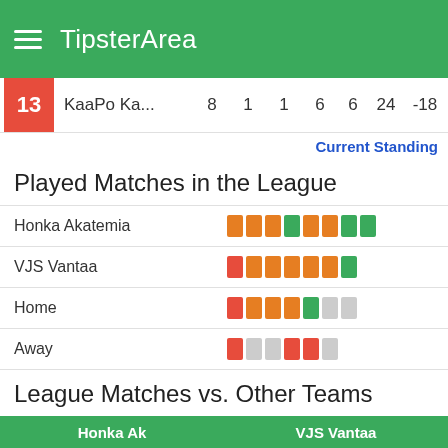TipsterArea
| # | Team | P | W | D | L | GF | GA | GD | Pts |
| --- | --- | --- | --- | --- | --- | --- | --- | --- | --- |
| 13 | KaaPo Ka... | 8 | 1 | 1 | 6 | 6 | 24 | -18 | 4 |
Current Standing
Played Matches in the League
| Team | Form |
| --- | --- |
| Honka Akatemia | OOOGOOGOG |
| VJS Vantaa | ROOSROGR |
| Home | ROOGOG-- |
| Away | R--RR- |
League Matches vs. Other Teams
| Honka Ak | VJS Vantaa |
| --- | --- |